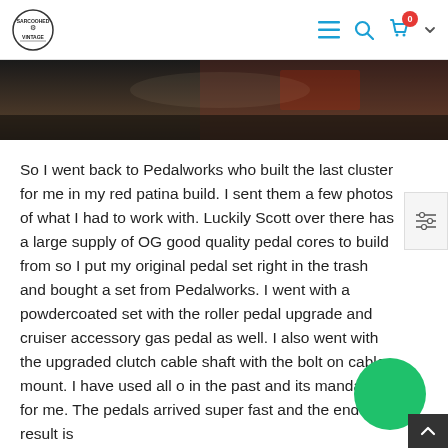Sarcoohed Vintage [logo] — navigation icons: hamburger menu, search, cart (0), chevron
[Figure (photo): Top portion of a dark-toned photograph, showing a dark surface with reddish element at top right, cropped at the top of the visible area.]
So I went back to Pedalworks who built the last cluster for me in my red patina build. I sent them a few photos of what I had to work with. Luckily Scott over there has a large supply of OG good quality pedal cores to build from so I put my original pedal set right in the trash and bought a set from Pedalworks. I went with a powdercoated set with the roller pedal upgrade and cruiser accessory gas pedal as well. I also went with the upgraded clutch cable shaft with the bolt on cable mount. I have used all of in the past and its mandatory for me. The pedals arrived super fast and the end result is